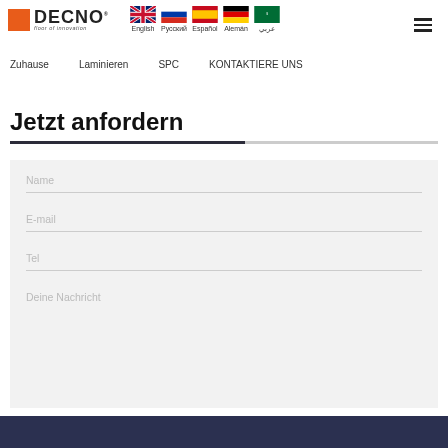[Figure (logo): DECNO logo with orange square and 'Floor of innovation' tagline]
[Figure (infographic): Language selection flags: English (UK), Russian, Spanish, German, Arabic]
Zuhause   Laminieren   SPC   KONTAKTIERE UNS
Jetzt anfordern
Name
E-mail
Tel
Deine Nachricht